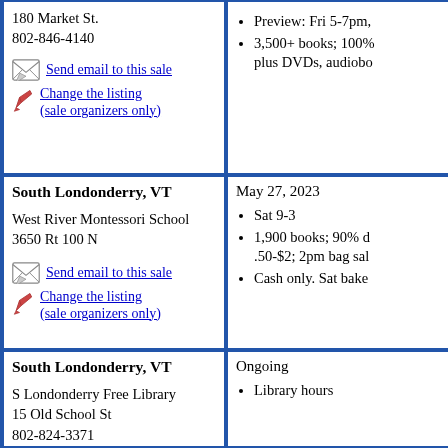180 Market St.
802-846-4140
Preview: Fri 5-7pm,
3,500+ books; 100% plus DVDs, audiobo
Send email to this sale
Change the listing (sale organizers only)
South Londonderry, VT
May 27, 2023
West River Montessori School
3650 Rt 100 N
Sat 9-3
1,900 books; 90% d .50-$2; 2pm bag sal
Cash only. Sat bake
Send email to this sale
Change the listing (sale organizers only)
South Londonderry, VT
Ongoing
S Londonderry Free Library
15 Old School St
802-824-3371
Library hours
Change the listing (sale organizers only)